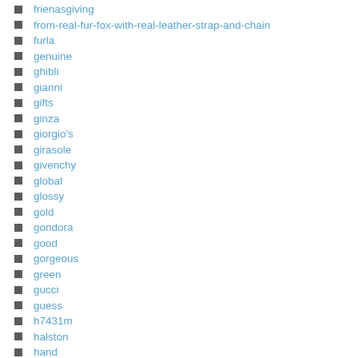frienasgiving
from-real-fur-fox-with-real-leather-strap-and-chain
furla
genuine
ghibli
gianni
gifts
ginza
giorgio's
girasole
givenchy
global
glossy
gold
gondora
good
gorgeous
green
gucci
guess
h7431m
halston
hand